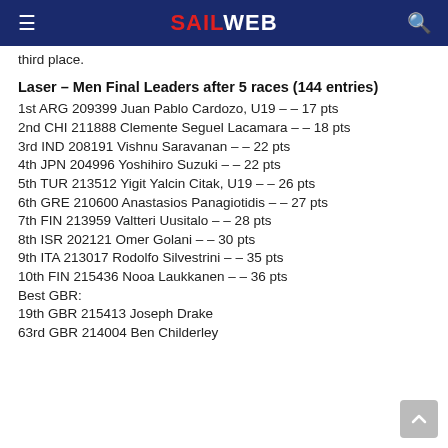SAILWEB
third place.
Laser – Men Final Leaders after 5 races (144 entries)
1st ARG 209399 Juan Pablo Cardozo, U19 – – 17 pts
2nd CHI 211888 Clemente Seguel Lacamara – – 18 pts
3rd IND 208191 Vishnu Saravanan – – 22 pts
4th JPN 204996 Yoshihiro Suzuki – – 22 pts
5th TUR 213512 Yigit Yalcin Citak, U19 – – 26 pts
6th GRE 210600 Anastasios Panagiotidis – – 27 pts
7th FIN 213959 Valtteri Uusitalo – – 28 pts
8th ISR 202121 Omer Golani – – 30 pts
9th ITA 213017 Rodolfo Silvestrini – – 35 pts
10th FIN 215436 Nooa Laukkanen – – 36 pts
Best GBR:
19th GBR 215413 Joseph Drake
63rd GBR 214004 Ben Childerley